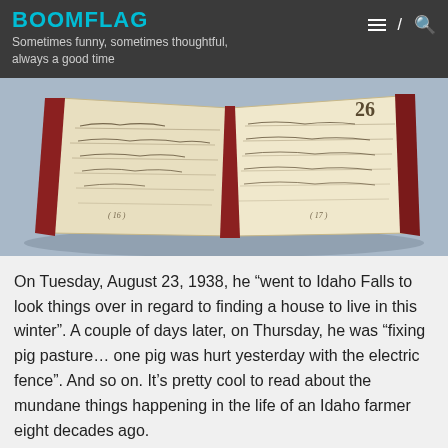BOOMFLAG
Sometimes funny, sometimes thoughtful, always a good time
[Figure (photo): Open handwritten journal/diary book resting on a surface, showing two pages with cursive handwriting and the number 26 visible on the right page.]
On Tuesday, August 23, 1938, he “went to Idaho Falls to look things over in regard to finding a house to live in this winter”. A couple of days later, on Thursday, he was “fixing pig pasture… one pig was hurt yesterday with the electric fence”. And so on. It’s pretty cool to read about the mundane things happening in the life of an Idaho farmer eight decades ago.
Once I’ve finished this project, and have thousands of pages of journals online somewhere, will anyone read through them? Honestly, I doubt it. But I suspect now and then it’ll be fun to jump in there and look at a few entries and remember Grandpa John